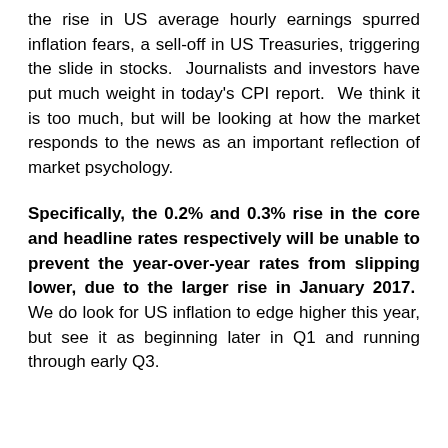the rise in US average hourly earnings spurred inflation fears, a sell-off in US Treasuries, triggering the slide in stocks.  Journalists and investors have put much weight in today's CPI report.  We think it is too much, but will be looking at how the market responds to the news as an important reflection of market psychology.
Specifically, the 0.2% and 0.3% rise in the core and headline rates respectively will be unable to prevent the year-over-year rates from slipping lower, due to the larger rise in January 2017.  We do look for US inflation to edge higher this year, but see it as beginning later in Q1 and running through early Q3.